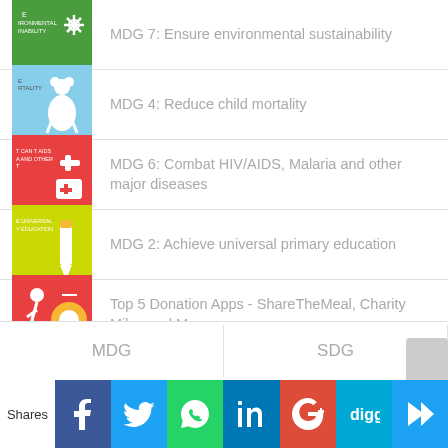MDG 7: Ensure environmental sustainability
MDG 4: Reduce child mortality
MDG 6: Combat HIV/AIDS, Malaria and other major diseases
MDG 2: Achieve universal primary education
Top 5 Donation Apps - ShareTheMeal, Charity Miles and More
MDG   SDG